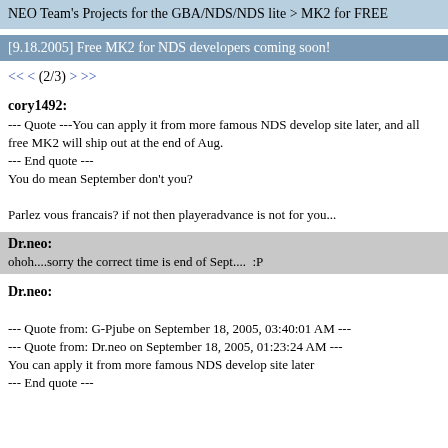NEO Team's Projects for the GBA/NDS/NDS lite > MK2 for FREE
[9.18.2005] Free MK2 for NDS developers coming soon!
<< < (2/3) > >>
cory1492:
--- Quote ---You can apply it from more famous NDS develop site later, and all free MK2 will ship out at the end of Aug.
--- End quote ---
You do mean September don't you?

Parlez vous francais? if not then playeradvance is not for you...
Dr.neo:
ohoh....sorry the correct time is end of Sept....  :P
Dr.neo:
--- Quote from: G-Pjube on September 18, 2005, 03:40:01 AM ---
--- Quote from: Dr.neo on September 18, 2005, 01:23:24 AM ---
You can apply it from more famous NDS develop site later
--- End quote ---